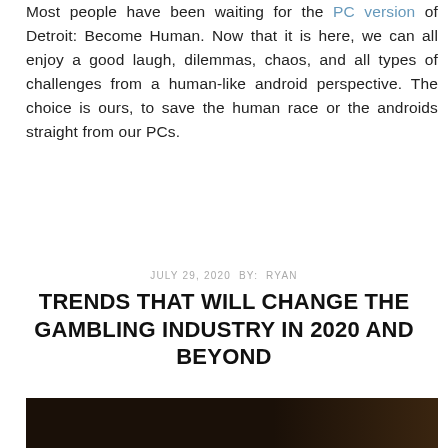Most people have been waiting for the PC version of Detroit: Become Human. Now that it is here, we can all enjoy a good laugh, dilemmas, chaos, and all types of challenges from a human-like android perspective. The choice is ours, to save the human race or the androids straight from our PCs.
JULY 29, 2020 BY: RYAN
TRENDS THAT WILL CHANGE THE GAMBLING INDUSTRY IN 2020 AND BEYOND
[Figure (photo): Dark photograph, partially visible at the bottom of the page, showing a dark brownish scene.]